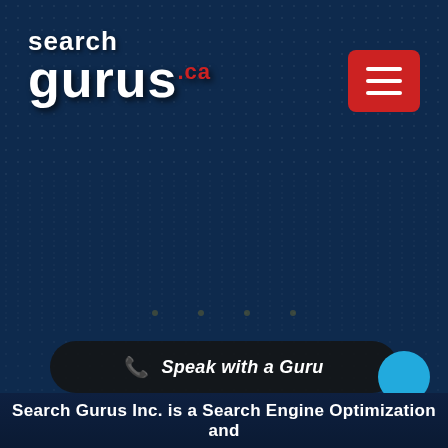Search Gurus .ca
[Figure (logo): Search Gurus .ca logo in white bold text with red .ca suffix]
[Figure (other): Red hamburger menu button with three white horizontal lines]
Speak with a Guru
Search Gurus Inc. is a Search Engine Optimization and